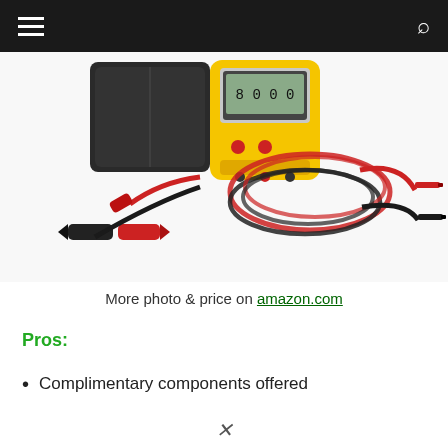≡  🔍
[Figure (photo): A yellow Fluke multimeter with a black carrying case, red and black test leads coiled up, and two alligator clip attachments (one black, one red) laid out on a white background.]
More photo & price on amazon.com
Pros:
Complimentary components offered